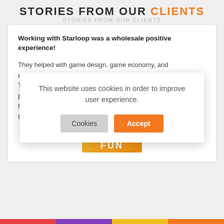STORIES FROM OUR CLIENTS
Working with Starloop was a wholesale positive experience!

They helped with game design, game economy, and development for some of our recent titles, like Hello Kitty Merge Town. Their professionalism and creativity throughout design, production, and implementation is something we were very happy with. We're looking forward to working with them again in the future.
[Figure (logo): FUN company logo — golden/orange gradient rectangle with radiating light burst and white text 'FUN']
This website uses cookies in order to improve user experience.